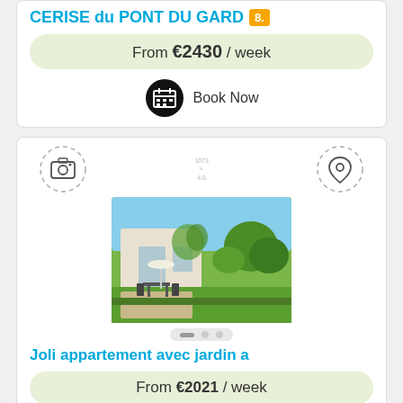CERISE du PONT DU GARD 8.
From €2430 / week
Book Now
[Figure (screenshot): Top portion of a second property listing card showing camera icon and location pin icon with dashed circles]
[Figure (photo): Photo of a French holiday apartment with garden terrace, outdoor furniture, and green lawn under blue sky]
[Figure (other): Navigation dots/slider indicators]
Joli appartement avec jardin a
From €2021 / week
Book Now